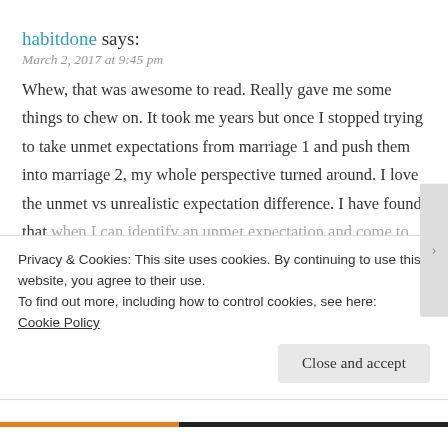habitdone says:
March 2, 2017 at 9:45 pm
Whew, that was awesome to read. Really gave me some things to chew on. It took me years but once I stopped trying to take unmet expectations from marriage 1 and push them into marriage 2, my whole perspective turned around. I love the unmet vs unrealistic expectation difference. I have found that when I can identify an unmet expectation and come to terms
Privacy & Cookies: This site uses cookies. By continuing to use this website, you agree to their use.
To find out more, including how to control cookies, see here:
Cookie Policy
Close and accept